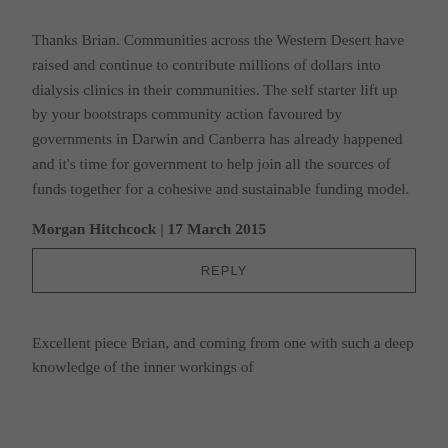Thanks Brian. Communities across the Western Desert have raised and continue to contribute millions of dollars into dialysis clinics in their communities. The self starter lift up by your bootstraps community action favoured by governments in Darwin and Canberra has already happened and it's time for government to help join all the sources of funds together for a cohesive and sustainable funding model.
Morgan Hitchcock | 17 March 2015
REPLY
Excellent piece Brian, and coming from one with such a deep knowledge of the inner workings of